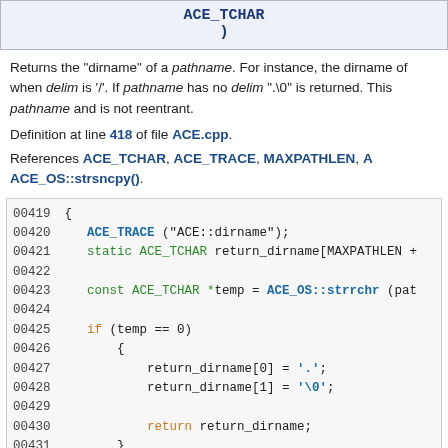| ACE_TCHAR |
| ) |
Returns the "dirname" of a pathname. For instance, the dirname of when delim is '/'. If pathname has no delim ".\0" is returned. This pathname and is not reentrant.
Definition at line 418 of file ACE.cpp.
References ACE_TCHAR, ACE_TRACE, MAXPATHLEN, A ACE_OS::strsncpy().
[Figure (screenshot): Source code listing showing lines 00419-00433 of ACE::dirname function implementation]